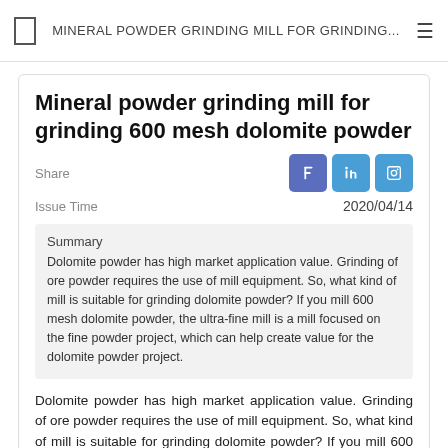MINERAL POWDER GRINDING MILL FOR GRINDING...
Mineral powder grinding mill for grinding 600 mesh dolomite powder
Share    2020/04/14    Issue Time
Summary
Dolomite powder has high market application value. Grinding of ore powder requires the use of mill equipment. So, what kind of mill is suitable for grinding dolomite powder? If you mill 600 mesh dolomite powder, the ultra-fine mill is a mill focused on the fine powder project, which can help create value for the dolomite powder project.
Dolomite powder has high market application value. Grinding of ore powder requires the use of mill equipment. So, what kind of mill is suitable for grinding dolomite powder? If you mill 600 mesh dolomite powder, the